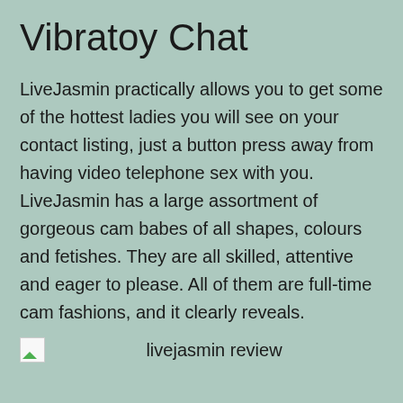Vibratoy Chat
LiveJasmin practically allows you to get some of the hottest ladies you will see on your contact listing, just a button press away from having video telephone sex with you. LiveJasmin has a large assortment of gorgeous cam babes of all shapes, colours and fetishes. They are all skilled, attentive and eager to please. All of them are full-time cam fashions, and it clearly reveals.
livejasmin review